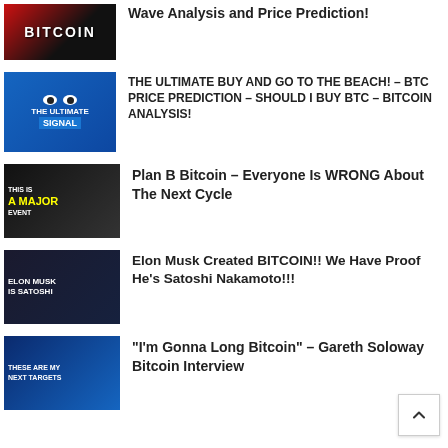Wave Analysis and Price Prediction!
THE ULTIMATE BUY AND GO TO THE BEACH! – BTC PRICE PREDICTION – SHOULD I BUY BTC – BITCOIN ANALYSIS!
Plan B Bitcoin – Everyone Is WRONG About The Next Cycle
Elon Musk Created BITCOIN!! We Have Proof He's Satoshi Nakamoto!!!
"I'm Gonna Long Bitcoin" – Gareth Soloway Bitcoin Interview